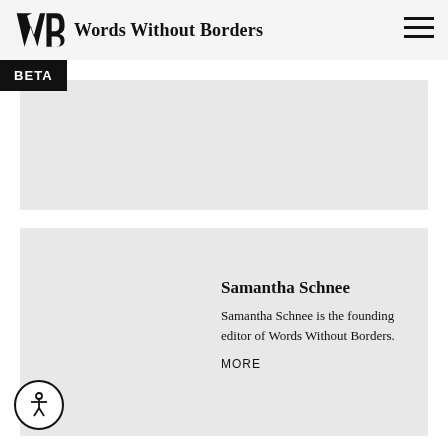Words Without Borders
BETA
[Figure (other): Gray placeholder card area at top]
[Figure (other): Gray card with author info: Samantha Schnee profile card]
Samantha Schnee
Samantha Schnee is the founding editor of Words Without Borders.
MORE